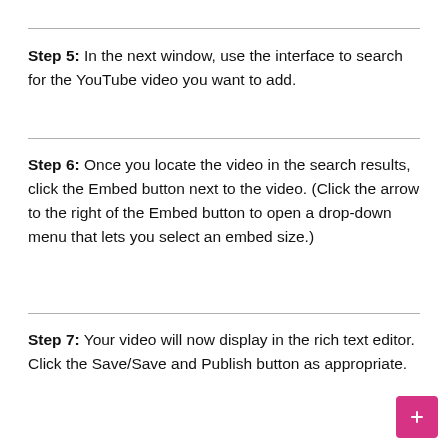Step 5: In the next window, use the interface to search for the YouTube video you want to add.
Step 6: Once you locate the video in the search results, click the Embed button next to the video. (Click the arrow to the right of the Embed button to open a drop-down menu that lets you select an embed size.)
Step 7: Your video will now display in the rich text editor. Click the Save/Save and Publish button as appropriate.